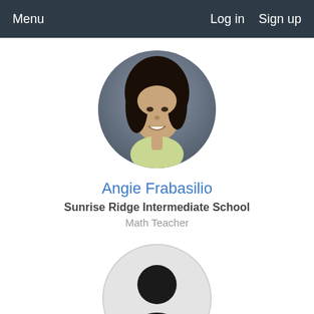Menu   Log in   Sign up
[Figure (photo): Circular profile photo of Angie Frabasilio, a woman with dark hair, smiling, wearing a light-colored top]
Angie Frabasilio
Sunrise Ridge Intermediate School
Math Teacher
[Figure (photo): Circular default avatar silhouette icon with grey background and black person outline]